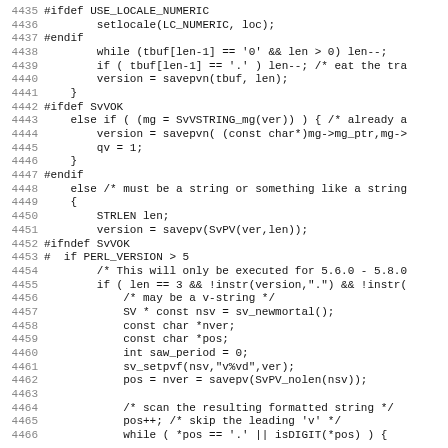[Figure (screenshot): Source code listing in C/Perl with line numbers 4435-4466, showing preprocessor directives and code for version string handling]